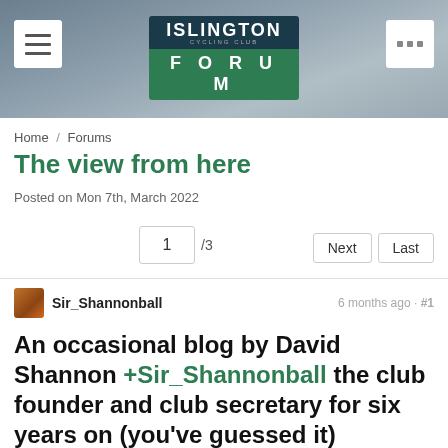[Figure (screenshot): Islington Cycling Club Forum website header banner with navigation hamburger icon on left, Islington Forum logo in center, and grid icon on right]
Home / Forums
The view from here
Posted on Mon 7th, March 2022
1 / 3   Next   Last
Sir_Shannonball   6 months ago · #1
An occasional blog by David Shannon +Sir_Shannonball the club founder and club secretary for six years on (you've guessed it) cycling...